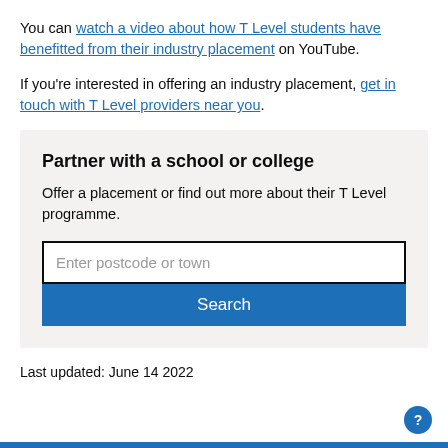You can watch a video about how T Level students have benefitted from their industry placement on YouTube.
If you're interested in offering an industry placement, get in touch with T Level providers near you.
Partner with a school or college
Offer a placement or find out more about their T Level programme.
Enter postcode or town
Search
Last updated: June 14 2022